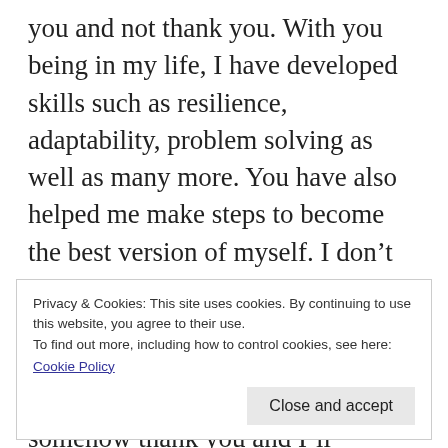you and not thank you. With you being in my life, I have developed skills such as resilience, adaptability, problem solving as well as many more. You have also helped me make steps to become the best version of myself. I don't know if making me a better person was your true intention all along. However, whether or not that was your intention, I cannot help but somehow thank you and I'll probably look back in 10 years'
Privacy & Cookies: This site uses cookies. By continuing to use this website, you agree to their use.
To find out more, including how to control cookies, see here:
Cookie Policy
Close and accept